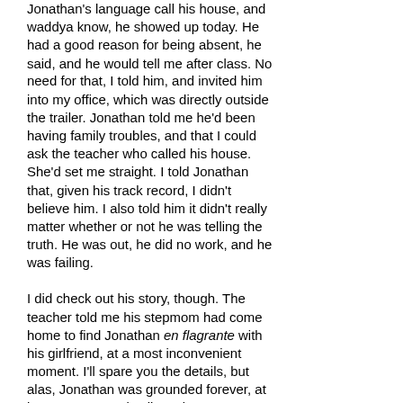Jonathan's language call his house, and waddya know, he showed up today. He had a good reason for being absent, he said, and he would tell me after class. No need for that, I told him, and invited him into my office, which was directly outside the trailer. Jonathan told me he'd been having family troubles, and that I could ask the teacher who called his house. She'd set me straight. I told Jonathan that, given his track record, I didn't believe him. I also told him it didn't really matter whether or not he was telling the truth. He was out, he did no work, and he was failing.
I did check out his story, though. The teacher told me his stepmom had come home to find Jonathan en flagrante with his girlfriend, at a most inconvenient moment. I'll spare you the details, but alas, Jonathan was grounded forever, at least. He was only allowed out to come to school. So why, then, wasn't he showing up? This surprised the calling teacher, who said things had now taken an entirely new direction.
As I went around checking kids' work, I observed his blank paper and complimented